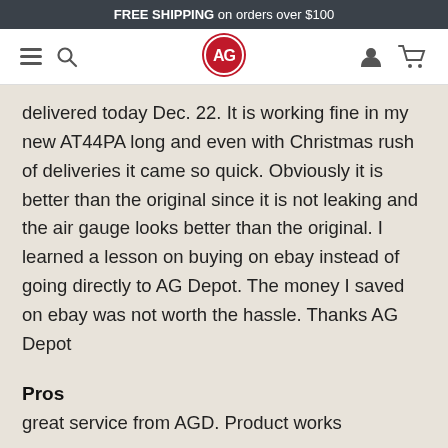FREE SHIPPING on orders over $100
[Figure (logo): AG Depot logo — red circle with interlocked AG letters, navigation bar with hamburger menu, search icon, user icon, and cart icon]
delivered today Dec. 22. It is working fine in my new AT44PA long and even with Christmas rush of deliveries it came so quick. Obviously it is better than the original since it is not leaking and the air gauge looks better than the original. I learned a lesson on buying on ebay instead of going directly to AG Depot. The money I saved on ebay was not worth the hassle. Thanks AG Depot
Pros
great service from AGD. Product works